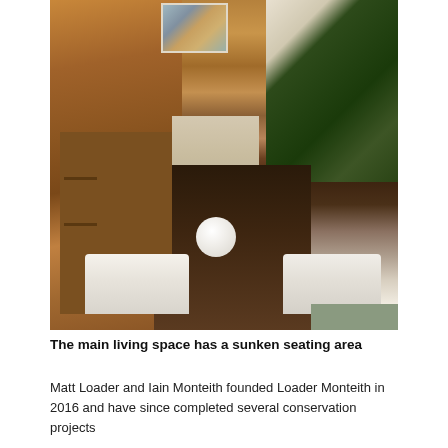[Figure (photo): Interior photograph of a mid-century modern living space featuring warm wood-panelled walls, built-in bookshelves on the left, travertine steps leading to an upper level with large tropical plants in a concrete planter on the right, dark hardwood flooring in the centre, and white boucle sofas with a spherical globe lamp on a glass side table in the foreground.]
The main living space has a sunken seating area
Matt Loader and Iain Monteith founded Loader Monteith in 2016 and have since completed several conservation projects